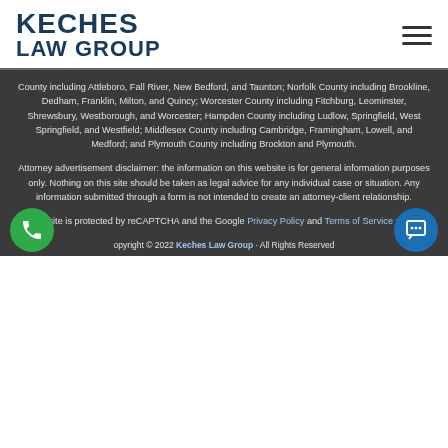[Figure (logo): Keches Law Group logo with text in dark navy blue, two lines: KECHES and LAW GROUP]
County including Attleboro, Fall River, New Bedford, and Taunton; Norfolk County including Brookline, Dedham, Franklin, Milton, and Quincy; Worcester County including Fitchburg, Leominster, Shrewsbury, Westborough, and Worcester; Hampden County including Ludlow, Springfield, West Springfield, and Westfield; Middlesex County including Cambridge, Framingham, Lowell, and Medford; and Plymouth County including Brockton and Plymouth.
Attorney advertisement disclaimer: the information on this website is for general information purposes only. Nothing on this site should be taken as legal advice for any individual case or situation. Any information submitted through a form is not intended to create an attorney-client relationship.
This site is protected by reCAPTCHA and the Google Privacy Policy and Terms of Service apply.
Copyright © 2022 Keches Law Group · All Rights Reserved